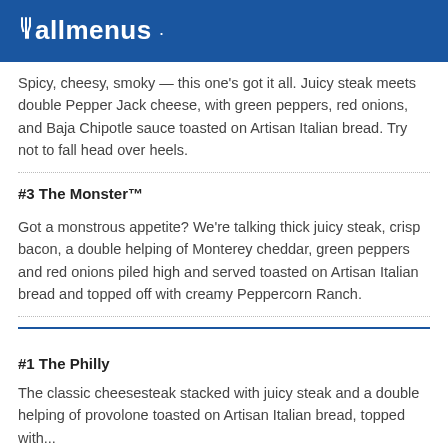allmenus
Spicy, cheesy, smoky — this one's got it all. Juicy steak meets double Pepper Jack cheese, with green peppers, red onions, and Baja Chipotle sauce toasted on Artisan Italian bread. Try not to fall head over heels.
#3 The Monster™
Got a monstrous appetite? We're talking thick juicy steak, crisp bacon, a double helping of Monterey cheddar, green peppers and red onions piled high and served toasted on Artisan Italian bread and topped off with creamy Peppercorn Ranch.
#1 The Philly
The classic cheesesteak stacked with juicy steak and a double helping of provolone toasted on Artisan Italian bread, topped with...